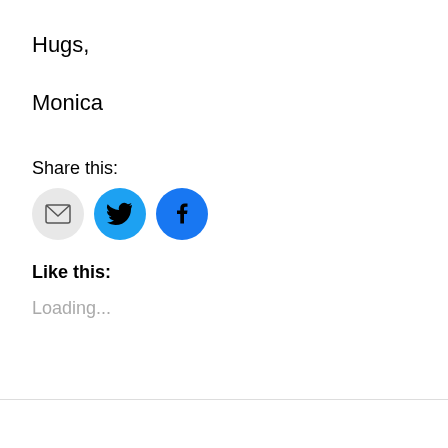Hugs,
Monica
Share this:
[Figure (other): Three social share buttons: email (grey circle with envelope icon), Twitter (blue circle with bird icon), Facebook (blue circle with f icon)]
Like this:
Loading...